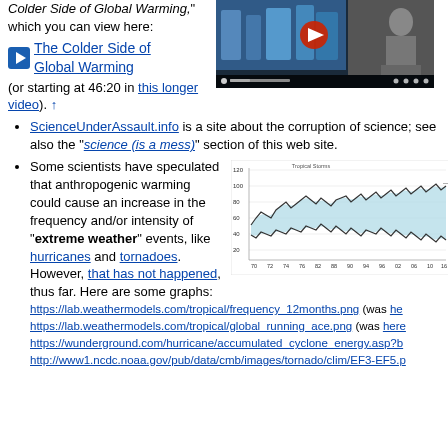Colder Side of Global Warming," which you can view here:
[Figure (screenshot): Video thumbnail showing a speaker at a podium with blue background, with a play button overlay and video control bar at bottom]
The Colder Side of Global Warming (or starting at 46:20 in this longer video). ↑
ScienceUnderAssault.info is a site about the corruption of science; see also the "science (is a mess)" section of this web site.
Some scientists have speculated that anthropogenic warming could cause an increase in the frequency and/or intensity of "extreme weather" events, like hurricanes and tornadoes. However, that has not happened, thus far. Here are some graphs:
[Figure (line-chart): Line chart showing tropical storm frequency data over time (years 70-16 on x-axis, values roughly 20-120 on y-axis), with shaded area between two boundary lines]
https://lab.weathermodels.com/tropical/frequency_12months.png (was he
https://lab.weathermodels.com/tropical/global_running_ace.png (was here
https://wunderground.com/hurricane/accumulated_cyclone_energy.asp?b
http://www1.ncdc.noaa.gov/pub/data/cmb/images/tornado/clim/EF3-EF5.p